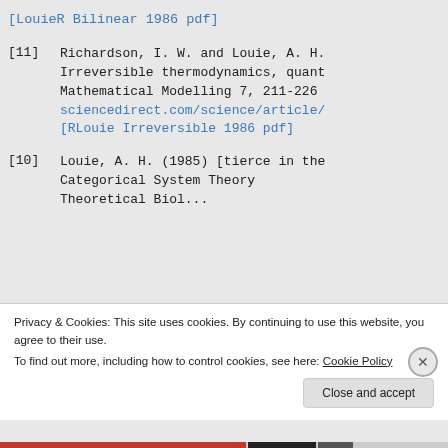[LouieR Bilinear 1986 pdf]
[11] Richardson, I. W. and Louie, A. H. Irreversible thermodynamics, quant... Mathematical Modelling 7, 211-226 sciencedirect.com/science/article/ [RLouie Irreversible 1986 pdf]
[10] Louie, A. H. (1985) [tierce in the Categorical System Theory Theoretical Biol...
Privacy & Cookies: This site uses cookies. By continuing to use this website, you agree to their use. To find out more, including how to control cookies, see here: Cookie Policy